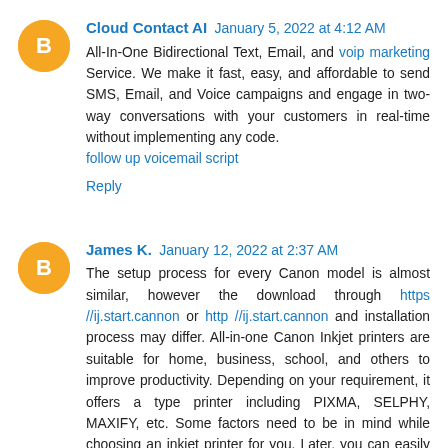Cloud Contact AI  January 5, 2022 at 4:12 AM
All-In-One Bidirectional Text, Email, and voip marketing Service. We make it fast, easy, and affordable to send SMS, Email, and Voice campaigns and engage in two-way conversations with your customers in real-time without implementing any code.
follow up voicemail script
Reply
James K.  January 12, 2022 at 2:37 AM
The setup process for every Canon model is almost similar, however the download through https //ij.start.cannon or http //ij.start.cannon and installation process may differ. All-in-one Canon Inkjet printers are suitable for home, business, school, and others to improve productivity. Depending on your requirement, it offers a type printer including PIXMA, SELPHY, MAXIFY, etc. Some factors need to be in mind while choosing an inkjet printer for you. Later, you can easily set up your Canon printer through drivers from